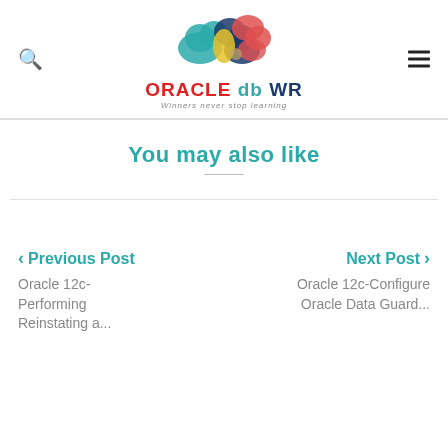[Figure (logo): Oracle DB WR website logo with colorful cloud graphic and text 'ORACLE db WR - Winners never stop learning']
You may also like
< Previous Post
Oracle 12c-Performing Reinstating a...
Next Post >
Oracle 12c-Configure Oracle Data Guard...